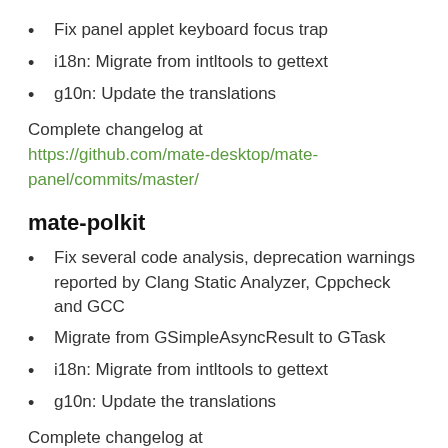Fix panel applet keyboard focus trap
i18n: Migrate from intltools to gettext
g10n: Update the translations
Complete changelog at https://github.com/mate-desktop/mate-panel/commits/master/
mate-polkit
Fix several code analysis, deprecation warnings reported by Clang Static Analyzer, Cppcheck and GCC
Migrate from GSimpleAsyncResult to GTask
i18n: Migrate from intltools to gettext
g10n: Update the translations
Complete changelog at